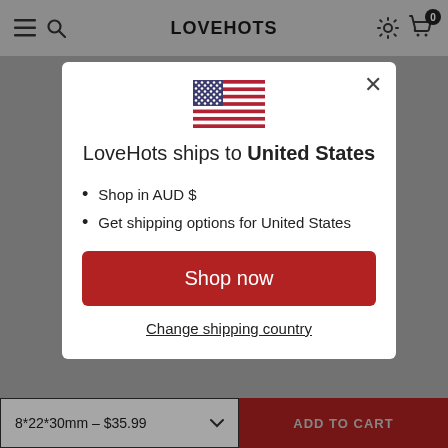LOVEHOTS
[Figure (illustration): US flag emoji/icon centered in modal]
LoveHots ships to United States
Shop in AUD $
Get shipping options for United States
Shop now
Change shipping country
8*22*30mm – $35.99
ADD TO CART